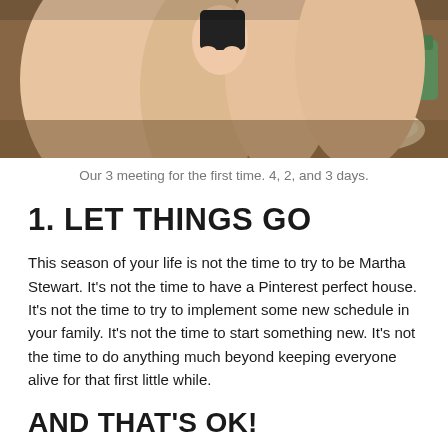[Figure (photo): Cropped photo showing legs/feet of adults and a baby on a carpet, with a green bottle visible in the background.]
Our 3 meeting for the first time. 4, 2, and 3 days.
1. LET THINGS GO
This season of your life is not the time to try to be Martha Stewart. It's not the time to have a Pinterest perfect house. It's not the time to try to implement some new schedule in your family. It's not the time to start something new. It's not the time to do anything much beyond keeping everyone alive for that first little while.
AND THAT'S OK!
If you're living out of a laundry hamper instead of